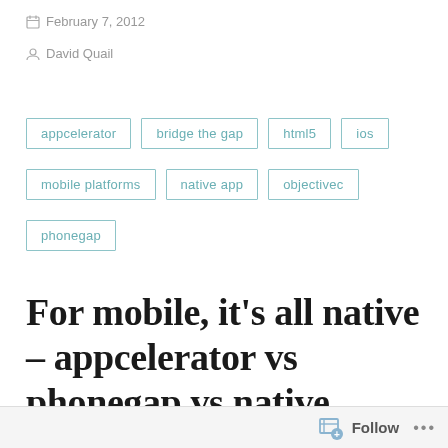February 7, 2012
David Quail
appcelerator
bridge the gap
html5
ios
mobile platforms
native app
objectivec
phonegap
For mobile, it’s all native – appcelerator vs phonegap vs native